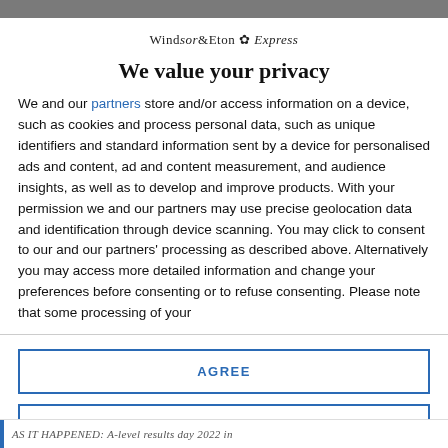Windsor & Eton Express
We value your privacy
We and our partners store and/or access information on a device, such as cookies and process personal data, such as unique identifiers and standard information sent by a device for personalised ads and content, ad and content measurement, and audience insights, as well as to develop and improve products. With your permission we and our partners may use precise geolocation data and identification through device scanning. You may click to consent to our and our partners' processing as described above. Alternatively you may access more detailed information and change your preferences before consenting or to refuse consenting. Please note that some processing of your
AGREE
MORE OPTIONS
AS IT HAPPENED: A-level results day 2022 in